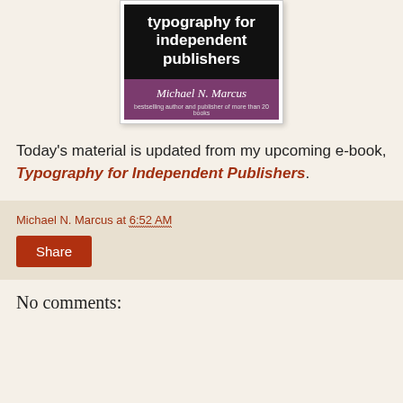[Figure (illustration): Book cover for 'Typography for Independent Publishers' by Michael N. Marcus, bestselling author and publisher of more than 20 books. Black top section with white bold title text, purple bottom section with author name in white italic and subtitle in light gray.]
Today's material is updated from my upcoming e-book, Typography for Independent Publishers.
Michael N. Marcus at 6:52 AM
Share
No comments: